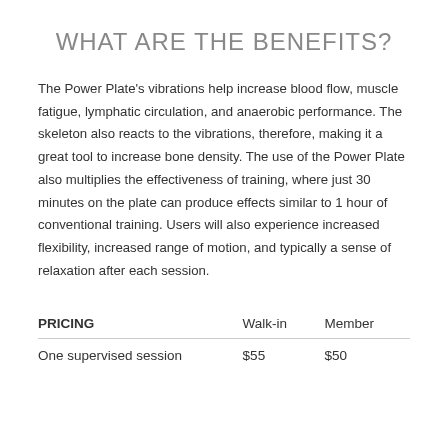WHAT ARE THE BENEFITS?
The Power Plate's vibrations help increase blood flow, muscle fatigue, lymphatic circulation, and anaerobic performance. The skeleton also reacts to the vibrations, therefore, making it a great tool to increase bone density. The use of the Power Plate also multiplies the effectiveness of training, where just 30 minutes on the plate can produce effects similar to 1 hour of conventional training. Users will also experience increased flexibility, increased range of motion, and typically a sense of relaxation after each session.
| PRICING | Walk-in | Member |
| --- | --- | --- |
| One supervised session | $55 | $50 |